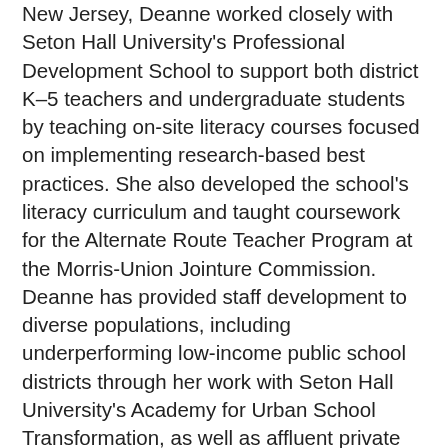New Jersey, Deanne worked closely with Seton Hall University's Professional Development School to support both district K–5 teachers and undergraduate students by teaching on-site literacy courses focused on implementing research-based best practices. She also developed the school's literacy curriculum and taught coursework for the Alternate Route Teacher Program at the Morris-Union Jointure Commission. Deanne has provided staff development to diverse populations, including underperforming low-income public school districts through her work with Seton Hall University's Academy for Urban School Transformation, as well as affluent private schools such as The American School in Switzerland and in Puerto Rico.
Deanne has presented at local, state, and national levels, including the National Association for Professional Development Schools in Las Vegas, Nevada, and Orlando, Florida, and her annual workshop at New Jersey's Regional Professional Development Academy